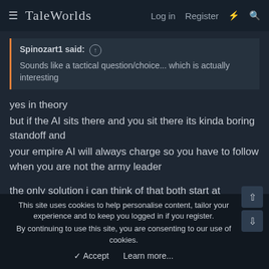≡ TaleWorlds  Log in  Register  ⚡  🔍
Spinozart1 said: ↑
Sounds like a tactical question/choice... which is actually interesting
yes in theory
but if the AI sits there and you sit there its kinda boring standoff and
your empire AI will always charge so you have to follow when you are not the army leader

the only solution i can think of that both start at engagement range
could work since you can pre place

edit: or we get war machines that would force both to quick
This site uses cookies to help personalise content, tailor your experience and to keep you logged in if you register.
By continuing to use this site, you are consenting to our use of cookies.
✓ Accept  Learn more...